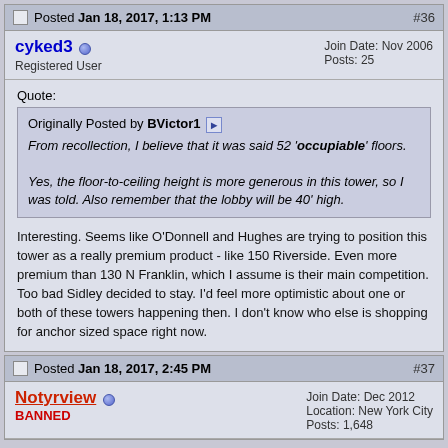Posted Jan 18, 2017, 1:13 PM  #36
cyked3  Registered User  Join Date: Nov 2006  Posts: 25
Quote:
Originally Posted by BVictor1
From recollection, I believe that it was said 52 'occupiable' floors.

Yes, the floor-to-ceiling height is more generous in this tower, so I was told. Also remember that the lobby will be 40' high.
Interesting. Seems like O'Donnell and Hughes are trying to position this tower as a really premium product - like 150 Riverside. Even more premium than 130 N Franklin, which I assume is their main competition. Too bad Sidley decided to stay. I'd feel more optimistic about one or both of these towers happening then. I don't know who else is shopping for anchor sized space right now.
Posted Jan 18, 2017, 2:45 PM  #37
Notyrview  BANNED  Join Date: Dec 2012  Location: New York City  Posts: 1,648